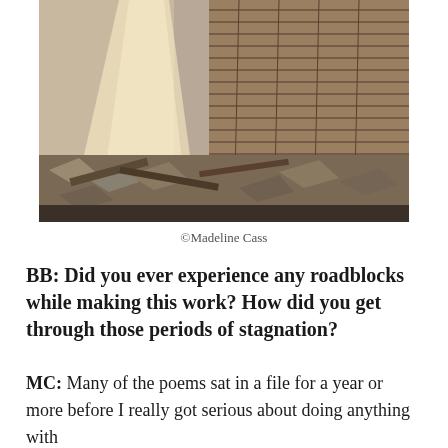[Figure (photo): Interior of an abandoned building with debris, broken wood planks, rubble scattered on the floor, and sunlight streaming through gaps in deteriorating wooden slat walls.]
©Madeline Cass
BB: Did you ever experience any roadblocks while making this work? How did you get through those periods of stagnation?
MC: Many of the poems sat in a file for a year or more before I really got serious about doing anything with